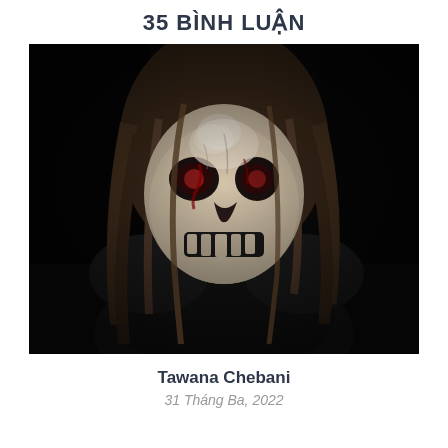35 BÌNH LUẬN
[Figure (photo): A person wearing a dark skull/horror mask with long brown hair, dressed in dark clothing, photographed against a dark background. The image has a horror/Halloween aesthetic.]
Tawana Chebani
31 Tháng Ba, 2022